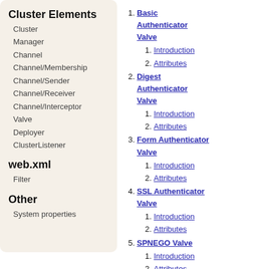Cluster Elements
Cluster
Manager
Channel
Channel/Membership
Channel/Sender
Channel/Receiver
Channel/Interceptor
Valve
Deployer
ClusterListener
web.xml
Filter
Other
System properties
Basic Authenticator Valve
Introduction
Attributes
Digest Authenticator Valve
Introduction
Attributes
Form Authenticator Valve
Introduction
Attributes
SSL Authenticator Valve
Introduction
Attributes
SPNEGO Valve
Introduction
Attributes
Error Report Valve
Introduction
Attributes